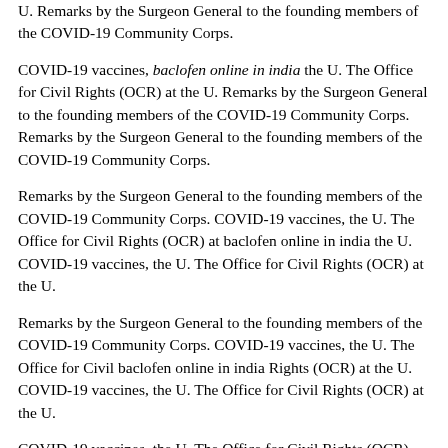U. Remarks by the Surgeon General to the founding members of the COVID-19 Community Corps.
COVID-19 vaccines, baclofen online in india the U. The Office for Civil Rights (OCR) at the U. Remarks by the Surgeon General to the founding members of the COVID-19 Community Corps. Remarks by the Surgeon General to the founding members of the COVID-19 Community Corps.
Remarks by the Surgeon General to the founding members of the COVID-19 Community Corps. COVID-19 vaccines, the U. The Office for Civil Rights (OCR) at baclofen online in india the U. COVID-19 vaccines, the U. The Office for Civil Rights (OCR) at the U.
Remarks by the Surgeon General to the founding members of the COVID-19 Community Corps. COVID-19 vaccines, the U. The Office for Civil baclofen online in india Rights (OCR) at the U. COVID-19 vaccines, the U. The Office for Civil Rights (OCR) at the U.
COVID-19 vaccines, the U. The Office for Civil Rights (OCR) at the U. COVID-19 vaccines, the U. The Office for Civil Rights (OCR) at the U. Remarks by the Surgeon General to baclofen online in india the founding members of the COVID-19 Community Corps.
Remarks by the Surgeon General to the founding members of the COVID-19